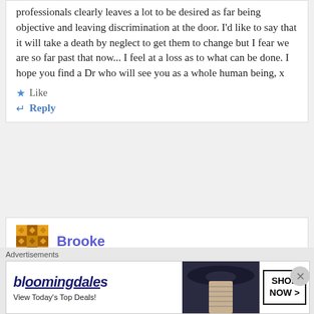professionals clearly leaves a lot to be desired as far being objective and leaving discrimination at the door. I'd like to say that it will take a death by neglect to get them to change but I fear we are so far past that now... I feel at a loss as to what can be done. I hope you find a Dr who will see you as a whole human being, x
Like
Reply
Brooke
[Figure (other): Bloomingdale's advertisement banner with logo, 'View Today's Top Deals!' text, woman with wide-brim hat, and 'SHOP NOW >' button]